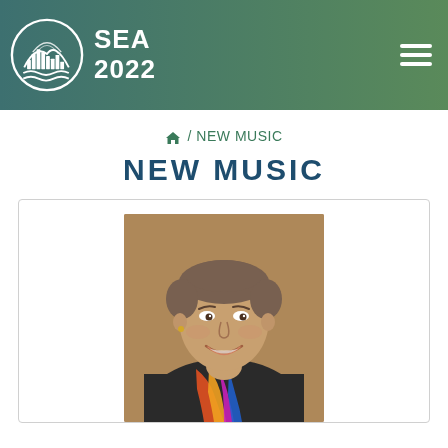SEA 2022
/ NEW MUSIC
NEW MUSIC
[Figure (photo): Professional headshot of a smiling middle-aged woman with short gray-brown hair, wearing a dark blazer with a colorful scarf, against a warm brown background.]